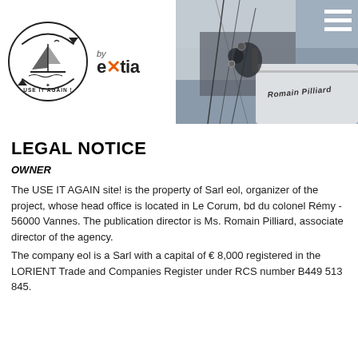[Figure (logo): USE IT AGAIN circular logo with sailboat illustration on left, and 'by extia' brand text on right with orange figure icon in the 'x']
[Figure (photo): Close-up photo of a sailing boat deck with ropes, pulleys and sails, with 'Romain Pilliard' text visible on the hull, and hamburger menu icon in top right corner]
LEGAL NOTICE
OWNER
The USE IT AGAIN site! is the property of Sarl eol, organizer of the project, whose head office is located in Le Corum, bd du colonel Rémy - 56000 Vannes. The publication director is Ms. Romain Pilliard, associate director of the agency.
The company eol is a Sarl with a capital of € 8,000 registered in the LORIENT Trade and Companies Register under RCS number B449 513 845.